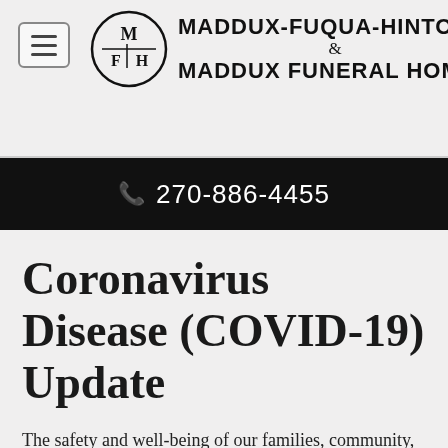Maddux-Fuqua-Hinton & Maddux Funeral Homes | 270-886-4455
Coronavirus Disease (COVID-19) Update
The safety and well-being of our families, community, and employees is our top priority.
At Maddux-Fuqua-Hinton Funeral Home, our foundation has always been service and support during difficult times. While these current